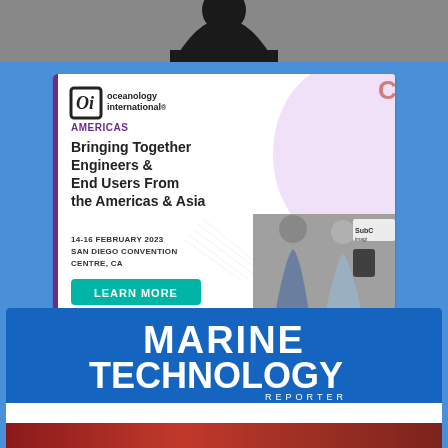[Figure (photo): Top portion of a person wearing a dark hoodie, cropped at the shoulders, against a grey background.]
[Figure (illustration): Oceanology International Americas advertisement. Features the Oi logo, the tagline 'Bringing Together Engineers & End Users From the Americas & Asia', date '14-16 February 2023, San Diego Convention Centre, CA', a 'Learn More' teal button, a purple blob shape, and a photo of people at a trade show booth.]
[Figure (illustration): Marine Technology Reporter magazine cover thumbnail showing 'MARINE TECHNOLOGY REPORTER August 2022' on a blue background with a red image strip at the bottom.]